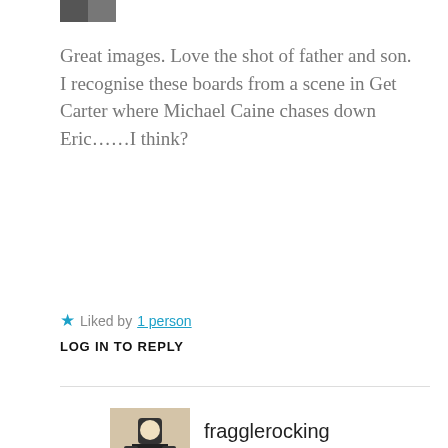[Figure (photo): Small partially visible avatar/thumbnail image at top left]
Great images. Love the shot of father and son. I recognise these boards from a scene in Get Carter where Michael Caine chases down Eric……I think?
★ Liked by 1 person
LOG IN TO REPLY
[Figure (photo): Avatar thumbnail for user fragglerocking showing a stylized illustration]
fragglerocking
DECEMBER 8, 2019 AT 7:55 PM
Ah no they used Blyth Staiths in that movie, sadly chopped down now. They looked very similar though. Thanks for